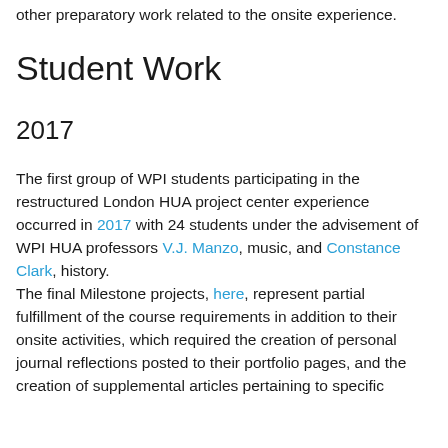other preparatory work related to the onsite experience.
Student Work
2017
The first group of WPI students participating in the restructured London HUA project center experience occurred in 2017 with 24 students under the advisement of WPI HUA professors V.J. Manzo, music, and Constance Clark, history.
The final Milestone projects, here, represent partial fulfillment of the course requirements in addition to their onsite activities, which required the creation of personal journal reflections posted to their portfolio pages, and the creation of supplemental articles pertaining to specific